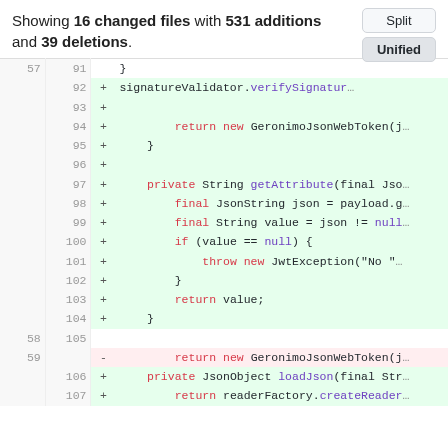Showing 16 changed files with 531 additions and 39 deletions.
[Figure (screenshot): GitHub diff view buttons: Split and Unified (Unified is active)]
| old_ln | new_ln | marker | code |
| --- | --- | --- | --- |
| 57 | 91 |  |   } |
|  | 92 | + |     signatureValidator.verifySignatur… |
|  | 93 | + |  |
|  | 94 | + |         return new GeronimoJsonWebToken(j… |
|  | 95 | + |     } |
|  | 96 | + |  |
|  | 97 | + |     private String getAttribute(final Jso… |
|  | 98 | + |         final JsonString json = payload.g… |
|  | 99 | + |         final String value = json != null… |
|  | 100 | + |         if (value == null) { |
|  | 101 | + |             throw new JwtException("No "… |
|  | 102 | + |         } |
|  | 103 | + |         return value; |
|  | 104 | + |     } |
| 58 | 105 |  |  |
| 59 |  | − |         return new GeronimoJsonWebToken(j… |
|  | 106 | + |     private JsonObject loadJson(final Str… |
|  | 107 | + |         return readerFactory.createReader… |